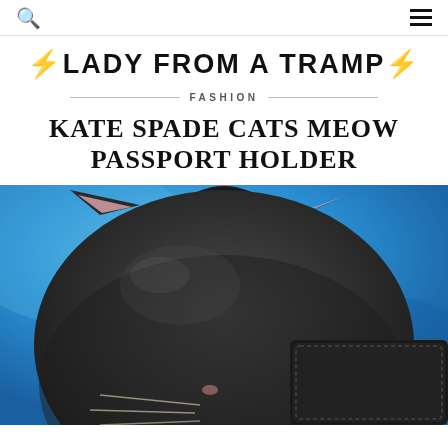LADY FROM A TRAMP
FASHION
KATE SPADE CATS MEOW PASSPORT HOLDER
[Figure (photo): Close-up photo of a black Kate Spade cat-shaped bag/passport holder with pink inner ear accents and whiskers, photographed against a bright blue background]